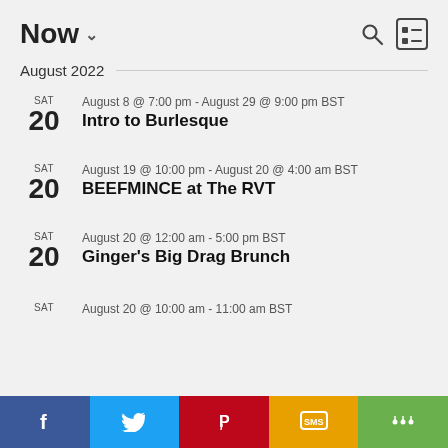Now ∨
August 2022
SAT 20 | August 8 @ 7:00 pm - August 29 @ 9:00 pm BST | Intro to Burlesque
SAT 20 | August 19 @ 10:00 pm - August 20 @ 4:00 am BST | BEEFMINCE at The RVT
SAT 20 | August 20 @ 12:00 am - 5:00 pm BST | Ginger's Big Drag Brunch
SAT | August 20 @ 10:00 am - 11:00 am BST
Facebook | Twitter | Pinterest | SMS | Share